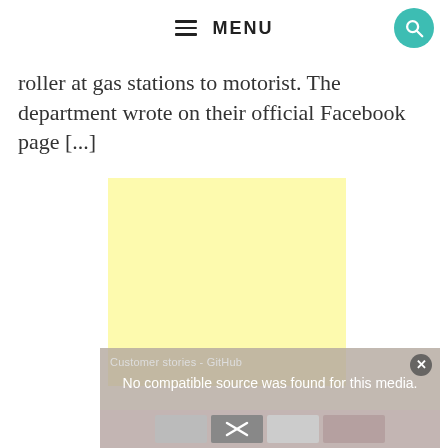MENU
roller at gas stations to motorist. The department wrote on their official Facebook page [...]
[Figure (other): Yellow advertisement block placeholder]
[Figure (screenshot): Video overlay with text: Customer stories - GitHub | No compatible source was found for this media. With close button and thumbnail strip below.]